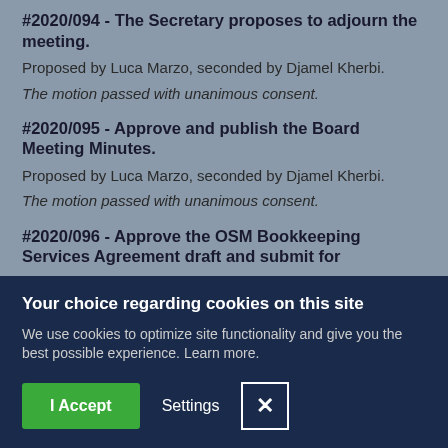#2020/094 - The Secretary proposes to adjourn the meeting.
Proposed by Luca Marzo, seconded by Djamel Kherbi.
The motion passed with unanimous consent.
#2020/095 - Approve and publish the Board Meeting Minutes.
Proposed by Luca Marzo, seconded by Djamel Kherbi.
The motion passed with unanimous consent.
#2020/096 - Approve the OSM Bookkeeping Services Agreement draft and submit for
Your choice regarding cookies on this site
We use cookies to optimize site functionality and give you the best possible experience. Learn more.